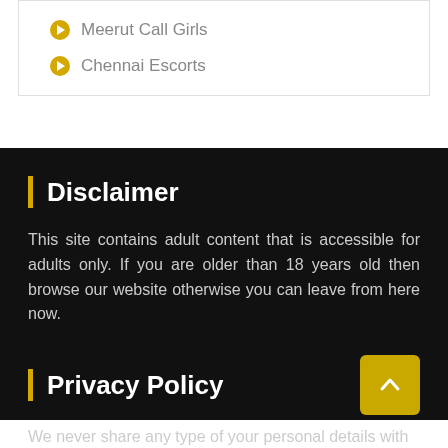Meerut Call Girls
Chennai Escorts
Disclaimer
This site contains adult content that is accessible for adults only. If you are older than 18 years old then browse our website otherwise you can leave from here now.
Privacy Policy
We never share any type of your personal details with